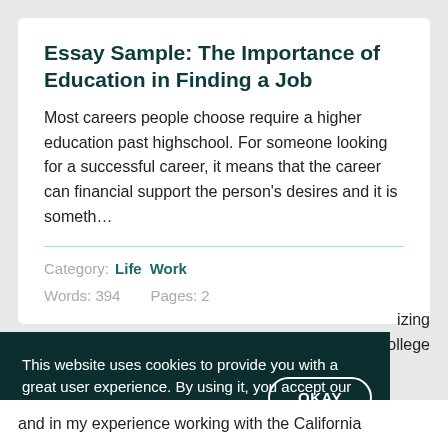Essay Sample: The Importance of Education in Finding a Job
Most careers people choose require a higher education past highschool. For someone looking for a successful career, it means that the career can financial support the person's desires and it is someth…
Category: Life  Work
Words: 394    Pages: 2
This website uses cookies to provide you with a great user experience. By using it, you accept our use of cookies
izing college and in my experience working with the California